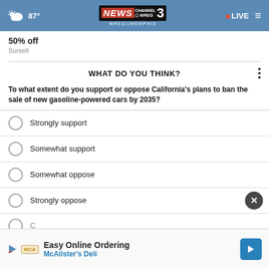87° NEWS CHANNEL 3 WREG MEMPHIS • LIVE
50% off
Sursell
WHAT DO YOU THINK?
To what extent do you support or oppose California's plans to ban the sale of new gasoline-powered cars by 2035?
Strongly support
Somewhat support
Somewhat oppose
Strongly oppose
[Figure (screenshot): McAlister's Deli advertisement banner: Easy Online Ordering — McAlister's Deli with logo and navigation arrow icon]